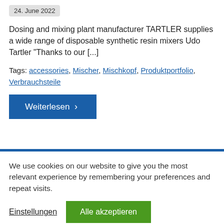24. June 2022
Dosing and mixing plant manufacturer TARTLER supplies a wide range of disposable synthetic resin mixers Udo Tartler "Thanks to our [...]
Tags: accessories, Mischer, Mischkopf, Produktportfolio, Verbrauchsteile
Weiterlesen >
We use cookies on our website to give you the most relevant experience by remembering your preferences and repeat visits.
Einstellungen
Alle akzeptieren